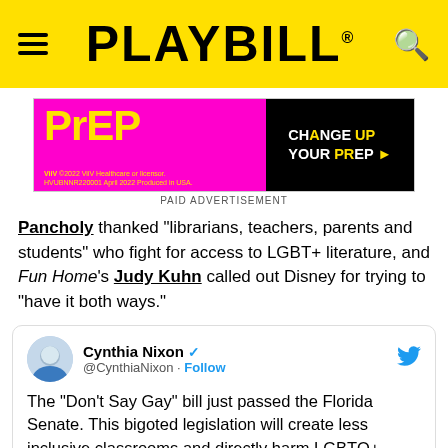PLAYBILL
[Figure (photo): PrEP advertisement banner - magenta background with yellow PrEP logo text on left and black section with 'CHANGE UP YOUR PrEP' text on right]
PAID ADVERTISEMENT
Pancholy thanked "librarians, teachers, parents and students" who fight for access to LGBT+ literature, and Fun Home's Judy Kuhn called out Disney for trying to "have it both ways."
[Figure (screenshot): Tweet from Cynthia Nixon (@CynthiaNixon) with blue verified checkmark. Tweet text: The "Don't Say Gay" bill just passed the Florida Senate. This bigoted legislation will create less inclusive classrooms and directly harm LGBTQ+ youth. Let's support the LGBTQ+ community in Florida and around]